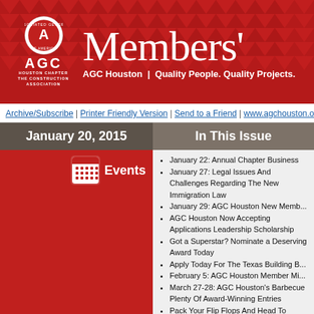[Figure (logo): AGC Houston Chapter newsletter header banner with red triangle pattern background, AGC circular logo, 'Members'' title text, and tagline 'AGC Houston | Quality People. Quality Projects.']
Archive/Subscribe | Printer Friendly Version | Send to a Friend | www.agchouston.org
January 20, 2015
In This Issue
Events
January 22: Annual Chapter Business
January 27: Legal Issues And Challenges Regarding The New Immigration Law
January 29: AGC Houston New Memb...
AGC Houston Now Accepting Applications Leadership Scholarship
Got a Superstar? Nominate a Deserving Award Today
Apply Today For The Texas Building B...
February 5: AGC Houston Member Mi...
March 27-28: AGC Houston's Barbecue Plenty Of Award-Winning Entries
Pack Your Flip Flops And Head To Puerto Rico Convention